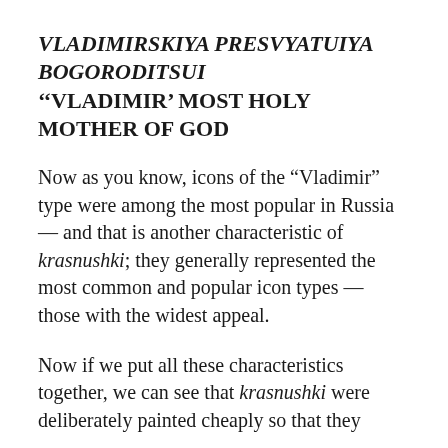VLADIMIRSKIYA PRESVYATUIYA BOGORODITSUI
‘‘VLADIMIR’ MOST HOLY MOTHER OF GOD
Now as you know, icons of the “Vladimir” type were among the most popular in Russia — and that is another characteristic of krasnushki; they generally represented the most common and popular icon types — those with the widest appeal.
Now if we put all these characteristics together, we can see that krasnushki were deliberately painted cheaply so that they